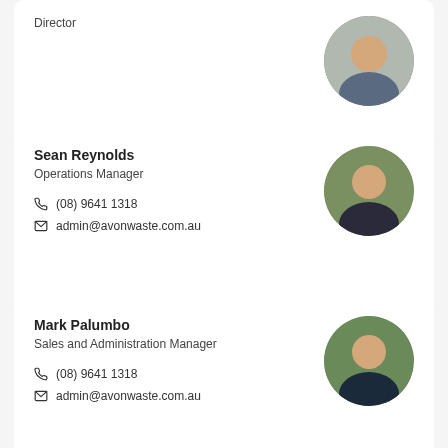Director
(08) 9641 1318
admin@avonwaste.com.au
[Figure (photo): Circular headshot of a man in a blue shirt, partially visible at top of page]
Sean Reynolds
Operations Manager
(08) 9641 1318
admin@avonwaste.com.au
[Figure (photo): Circular headshot of a bald man in a dark polo shirt]
Mark Palumbo
Sales and Administration Manager
(08) 9641 1318
admin@avonwaste.com.au
[Figure (photo): Circular headshot of a man in a dark polo shirt outdoors]